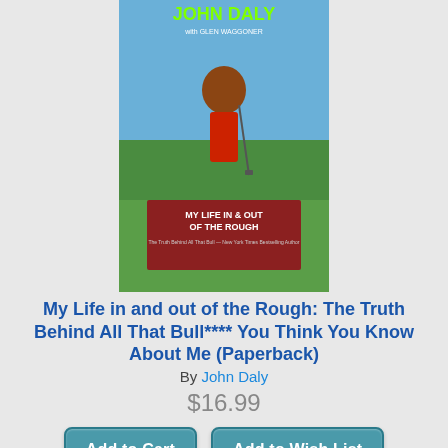[Figure (photo): Book cover: My Life in and out of the Rough by John Daly - shows author with golf club on green background]
My Life in and out of the Rough: The Truth Behind All That Bull**** You Think You Know About Me (Paperback)
By John Daly
$16.99
Add to Cart
Add to Wish List
Out of Stock, but we can likely order it for you. We will advise if we cannot.
[Figure (photo): Book cover: The 100-Year Golfer by Ilchi Lee - shows silhouette of golfer against sunset]